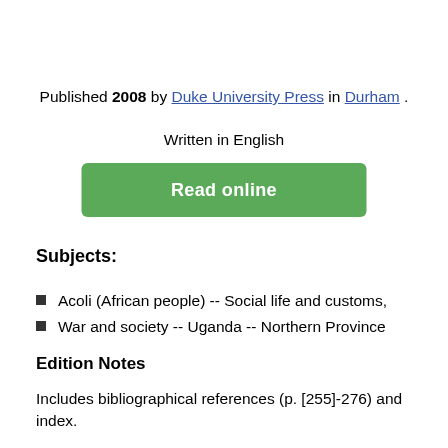Published 2008 by Duke University Press in Durham .
Written in English
[Figure (other): Green 'Read online' button]
Subjects:
Acoli (African people) -- Social life and customs,
War and society -- Uganda -- Northern Province
Edition Notes
Includes bibliographical references (p. [255]-276) and index.